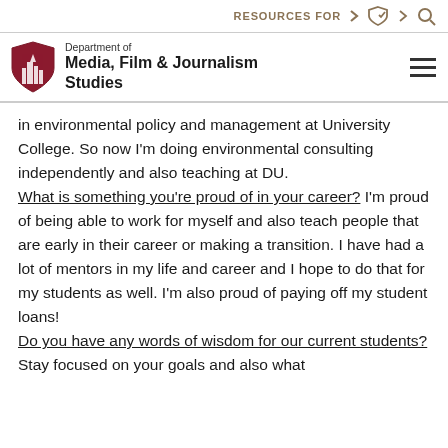RESOURCES FOR
Department of Media, Film & Journalism Studies
in environmental policy and management at University College. So now I'm doing environmental consulting independently and also teaching at DU.
What is something you're proud of in your career? I'm proud of being able to work for myself and also teach people that are early in their career or making a transition. I have had a lot of mentors in my life and career and I hope to do that for my students as well. I'm also proud of paying off my student loans!
Do you have any words of wisdom for our current students? Stay focused on your goals and also what